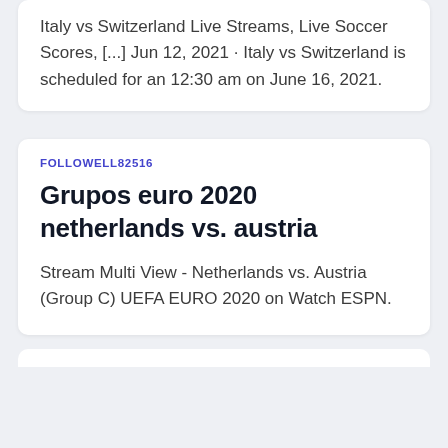Italy vs Switzerland Live Streams, Live Soccer Scores, [...] Jun 12, 2021 · Italy vs Switzerland is scheduled for an 12:30 am on June 16, 2021.
FOLLOWELL82516
Grupos euro 2020 netherlands vs. austria
Stream Multi View - Netherlands vs. Austria (Group C) UEFA EURO 2020 on Watch ESPN.